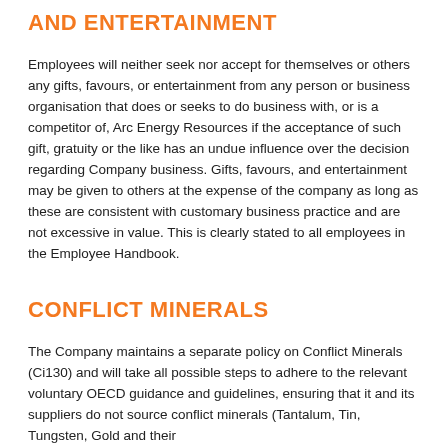AND ENTERTAINMENT
Employees will neither seek nor accept for themselves or others any gifts, favours, or entertainment from any person or business organisation that does or seeks to do business with, or is a competitor of, Arc Energy Resources if the acceptance of such gift, gratuity or the like has an undue influence over the decision regarding Company business. Gifts, favours, and entertainment may be given to others at the expense of the company as long as these are consistent with customary business practice and are not excessive in value. This is clearly stated to all employees in the Employee Handbook.
CONFLICT MINERALS
The Company maintains a separate policy on Conflict Minerals (Ci130) and will take all possible steps to adhere to the relevant voluntary OECD guidance and guidelines, ensuring that it and its suppliers do not source conflict minerals (Tantalum, Tin, Tungsten, Gold and their ores)...